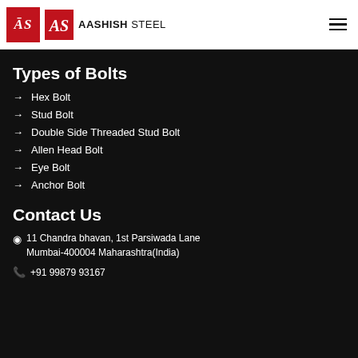AASHISH STEEL
Types of Bolts
Hex Bolt
Stud Bolt
Double Side Threaded Stud Bolt
Allen Head Bolt
Eye Bolt
Anchor Bolt
Contact Us
11 Chandra bhavan, 1st Parsiwada Lane Mumbai-400004 Maharashtra(India)
+91 99879 93167